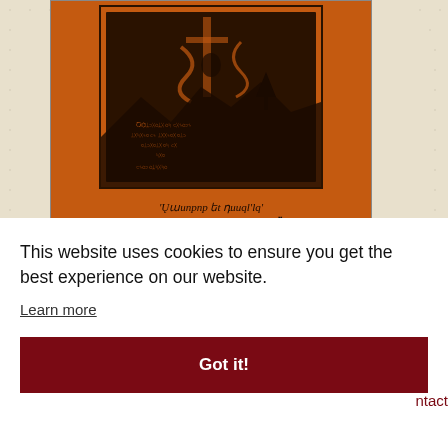[Figure (photo): Orange book cover showing a woodcut illustration of a figure with a cross/sword and serpent, with Armenian script text and the year 1950, plus an oval library stamp in the lower right corner.]
Ardashes Der-Khachadourian, Daron, 1950, Beirut
This website uses cookies to ensure you get the best experience on our website.
Learn more
Got it!